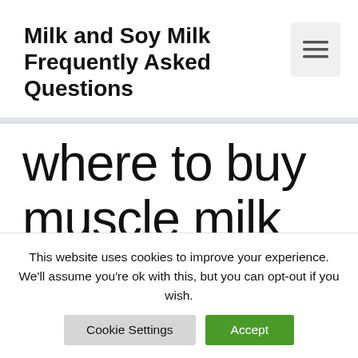Milk and Soy Milk Frequently Asked Questions
where to buy muscle milk
This website uses cookies to improve your experience. We'll assume you're ok with this, but you can opt-out if you wish.